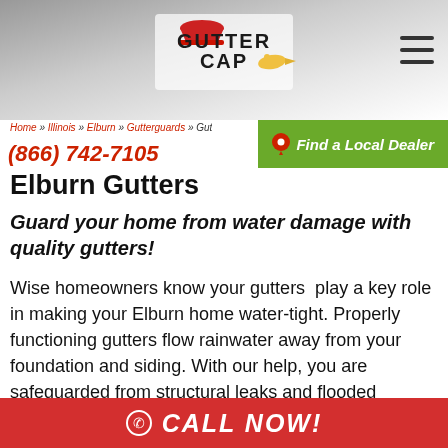[Figure (logo): Gutter Cap logo with red hat graphic and bird, centered in gray header area]
(866) 742-7105
Home » Illinois » Elburn » Gutterguards » Gut
Find a Local Dealer
Elburn Gutters
Guard your home from water damage with quality gutters!
Wise homeowners know your gutters  play a key role in making your Elburn home water-tight. Properly functioning gutters flow rainwater away from your foundation and siding. With our help, you are safeguarded from structural leaks and flooded
CALL NOW!